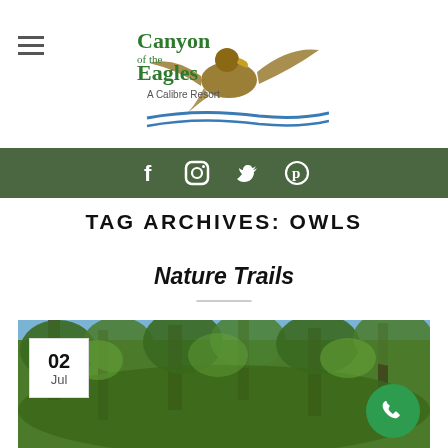Canyon of the Eagles — A Calibre Resort
[Figure (logo): Canyon of the Eagles - A Calibre Resort logo with eagle illustration]
[Figure (infographic): Green social media bar with Facebook, Instagram, Twitter, Pinterest icons]
TAG ARCHIVES: OWLS
Nature Trails
[Figure (photo): Forest canopy photo showing tall leafy trees against a blue sky, with a date badge showing 02 Jul and a phone button in the lower right corner]